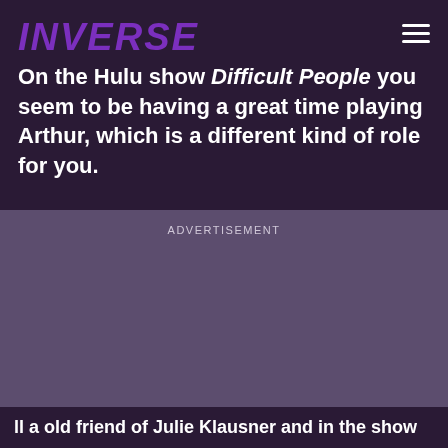INVERSE
On the Hulu show Difficult People you seem to be having a great time playing Arthur, which is a different kind of role for you.
ADVERTISEMENT
ll a old friend of Julie Klausner and in the show